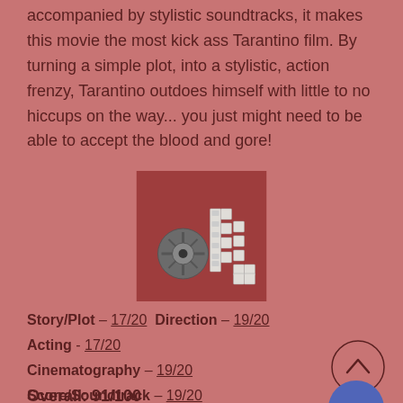...accompanied by stylistic soundtracks, it makes this movie the most kick ass Tarantino film. By turning a simple plot, into a stylistic, action frenzy, Tarantino outdoes himself with little to no hiccups on the way... you just might need to be able to accept the blood and gore!
[Figure (logo): A square logo with a dark reddish-brown background featuring a film reel icon and stylized film strip letters forming 'dL']
Story/Plot – 17/20  Direction – 19/20
Acting - 17/20
Cinematography – 19/20
Score/Soundtrack – 19/20
Overall: 91/100